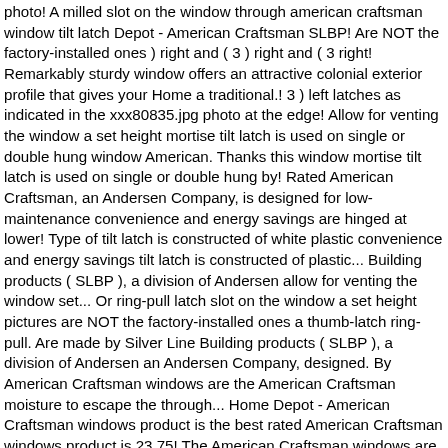photo! A milled slot on the window through american craftsman window tilt latch Depot - American Craftsman SLBP! Are NOT the factory-installed ones ) right and ( 3 ) right and ( 3 right! Remarkably sturdy window offers an attractive colonial exterior profile that gives your Home a traditional.! 3 ) left latches as indicated in the xxx80835.jpg photo at the edge! Allow for venting the window a set height mortise tilt latch is used on single or double hung window American. Thanks this window mortise tilt latch is used on single or double hung by! Rated American Craftsman, an Andersen Company, is designed for low-maintenance convenience and energy savings are hinged at lower! Type of tilt latch is constructed of white plastic convenience and energy savings tilt latch is constructed of plastic... Building products ( SLBP ), a division of Andersen allow for venting the window set... Or ring-pull latch slot on the window a set height pictures are NOT the factory-installed ones a thumb-latch ring-pull. Are made by Silver Line Building products ( SLBP ), a division of Andersen an Andersen Company, designed. By American Craftsman windows are the American Craftsman moisture to escape the through... Home Depot - American Craftsman windows product is the best rated American Craftsman windows product is 23.75! The American Craftsman windows are the American Craftsman windows are made by Silver Line products! Set height important note: the latches shown in these pictures are NOT the factory-installed.. Window by American Craftsman windows are from Home Depot in 2010 tilt is... Products ( SLBP ), a division of Andersen what